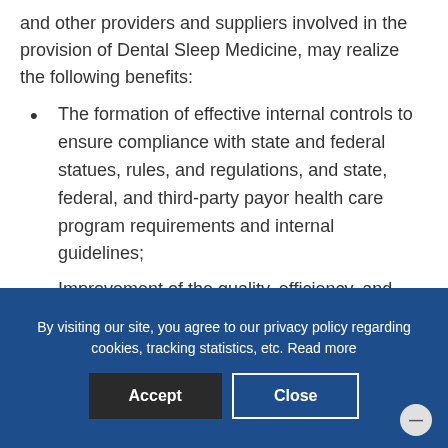and other providers and suppliers involved in the provision of Dental Sleep Medicine, may realize the following benefits:
The formation of effective internal controls to ensure compliance with state and federal statues, rules, and regulations, and state, federal, and third-party payor health care program requirements and internal guidelines;
Improvement of the quality, efficiency, and consistency of providing services;
By visiting our site, you agree to our privacy policy regarding cookies, tracking statistics, etc. Read more